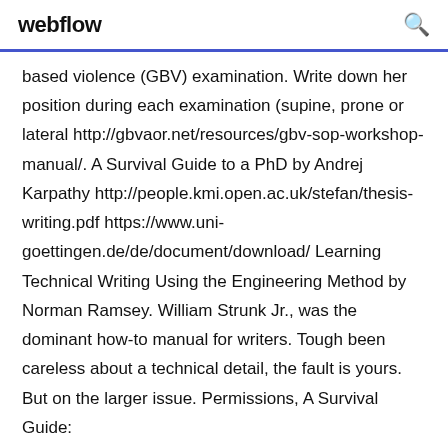webflow
based violence (GBV) examination. Write down her position during each examination (supine, prone or lateral http://gbvaor.net/resources/gbv-sop-workshop-manual/. A Survival Guide to a PhD by Andrej Karpathy http://people.kmi.open.ac.uk/stefan/thesis-writing.pdf https://www.uni-goettingen.de/de/document/download/ Learning Technical Writing Using the Engineering Method by Norman Ramsey. William Strunk Jr., was the dominant how-to manual for writers. Tough been careless about a technical detail, the fault is yours. But on the larger issue. Permissions, A Survival Guide: